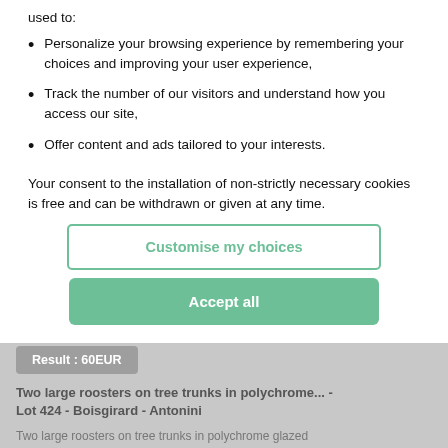used to:
Personalize your browsing experience by remembering your choices and improving your user experience,
Track the number of our visitors and understand how you access our site,
Offer content and ads tailored to your interests.
Your consent to the installation of non-strictly necessary cookies is free and can be withdrawn or given at any time.
Customise my choices
Accept all
Result : 60EUR
Two large roosters on tree trunks in polychrome... - Lot 424 - Boisgirard - Antonini
Two large roosters on tree trunks in polychrome glazed